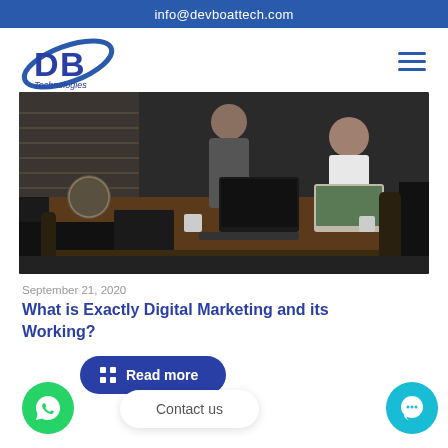info@devboattech.com
[Figure (logo): DB Technologies logo with blue swoosh]
[Figure (photo): Three people working around a wooden desk with laptops in a dark home office setting]
September 21, 2020
What is Exactly Digital Marketing and its Working?
Read more
Contact us